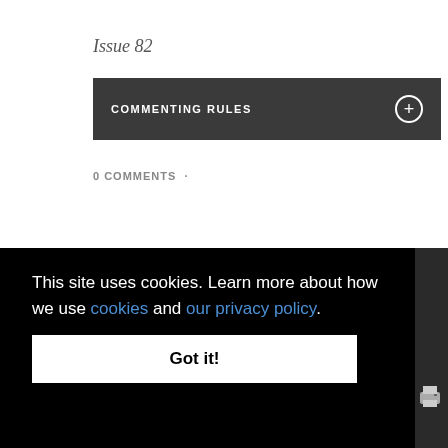Issue 82
COMMENTING RULES
0 COMMENTS ·
ADD NEW COMMENT
This site uses cookies. Learn more about how we use cookies and our privacy policy.
Got it!